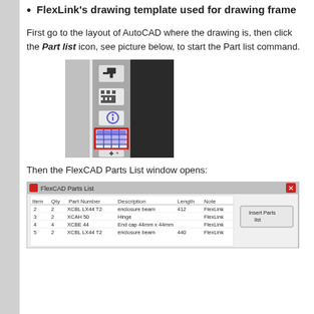FlexLink's drawing template used for drawing frame
First go to the layout of AutoCAD where the drawing is, then click the Part list icon, see picture below, to start the Part list command.
[Figure (screenshot): AutoCAD toolbar screenshot showing the Part list icon (grid/table icon) highlighted with a red rectangle border, among other toolbar icons on a grey/dark background.]
Then the FlexCAD Parts List window opens:
[Figure (screenshot): FlexCAD Parts List window dialog screenshot showing a table with columns Item, Qty, Part Number, Description, Length, Note. Rows include items 2-5 with parts like XCBL LX44 T2 (enclosure beam), XCAH 50 (Hinge), XCBE 44 (End cap 44mm x 44mm). An 'Insert Parts list' button appears on the right.]